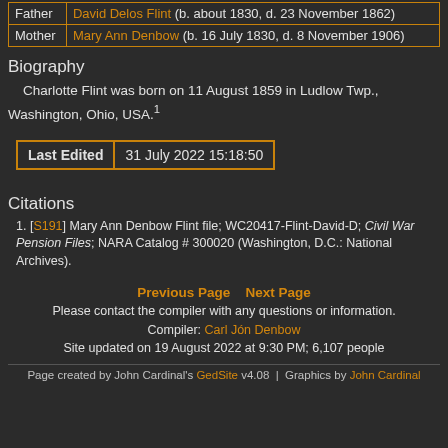|  |  |
| --- | --- |
| Father | David Delos Flint (b. about 1830, d. 23 November 1862) |
| Mother | Mary Ann Denbow (b. 16 July 1830, d. 8 November 1906) |
Biography
Charlotte Flint was born on 11 August 1859 in Ludlow Twp., Washington, Ohio, USA.1
| Last Edited | 31 July 2022 15:18:50 |
| --- | --- |
Citations
1. [S191] Mary Ann Denbow Flint file; WC20417-Flint-David-D; Civil War Pension Files; NARA Catalog # 300020 (Washington, D.C.: National Archives).
Previous Page   Next Page
Please contact the compiler with any questions or information.
Compiler: Carl Jón Denbow
Site updated on 19 August 2022 at 9:30 PM; 6,107 people
Page created by John Cardinal's GedSite v4.08  |  Graphics by John Cardinal